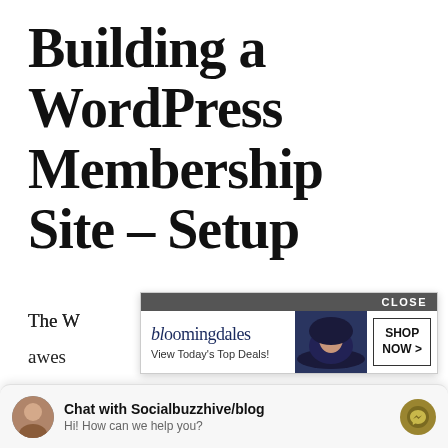Building a WordPress Membership Site – Setup
The WordPress sphere offers a ton of awesome... membership
[Figure (screenshot): Bloomingdale's advertisement overlay with CLOSE button, hat image, 'View Today's Top Deals!' tagline and 'SHOP NOW >' button]
This website uses cookies to improve your experience.
Chat with Socialbuzzhive/blog
Hi! How can we help you?